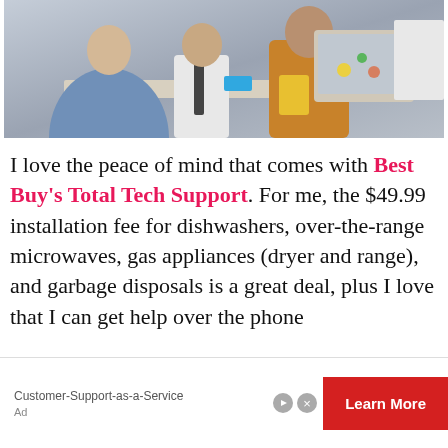[Figure (photo): Photo of people at a desk or counter, one person in a tie, another in an orange/tan cardigan holding a laptop with stickers, in an office or retail setting.]
I love the peace of mind that comes with Best Buy's Total Tech Support. For me, the $49.99 installation fee for dishwashers, over-the-range microwaves, gas appliances (dryer and range), and garbage disposals is a great deal, plus I love that I can get help over the phone
Customer-Support-as-a-Service
Learn More
Ad